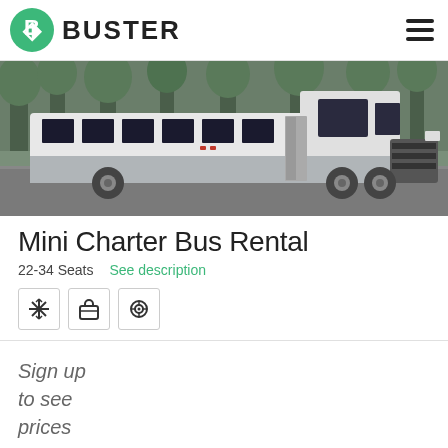BUSTER
[Figure (photo): Side view of a white mini charter bus / coach with dark tinted windows, parked on asphalt with trees in the background.]
Mini Charter Bus Rental
22-34 Seats   See description
[Figure (infographic): Three icon boxes: snowflake/AC icon, briefcase/luggage icon, speaker/audio icon.]
Sign up to see prices